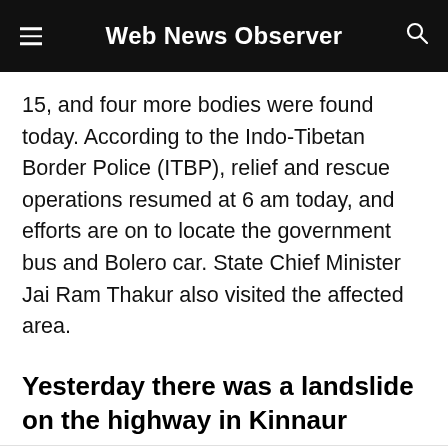Web News Observer
15, and four more bodies were found today. According to the Indo-Tibetan Border Police (ITBP), relief and rescue operations resumed at 6 am today, and efforts are on to locate the government bus and Bolero car. State Chief Minister Jai Ram Thakur also visited the affected area.
Yesterday there was a landslide on the highway in Kinnaur
A landslide o... Peo-Shimla highway in Himachal's Kinnaur district on